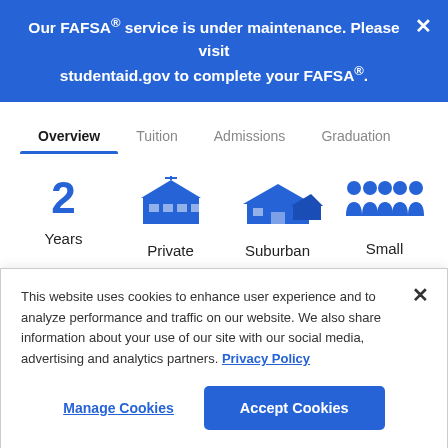Our FAFSA® service is under maintenance. Please visit studentaid.gov to complete your FAFSA®.
Overview
Tuition
Admissions
Graduation
[Figure (infographic): Four info icons in a row: '2 Years', a building icon labeled 'Private', a suburban house icon labeled 'Suburban', and people icons labeled 'Small']
Fan of the climate, vibes, and values of the Far...
This website uses cookies to enhance user experience and to analyze performance and traffic on our website. We also share information about your use of our site with our social media, advertising and analytics partners. Privacy Policy
Manage Cookies
Accept Cookies